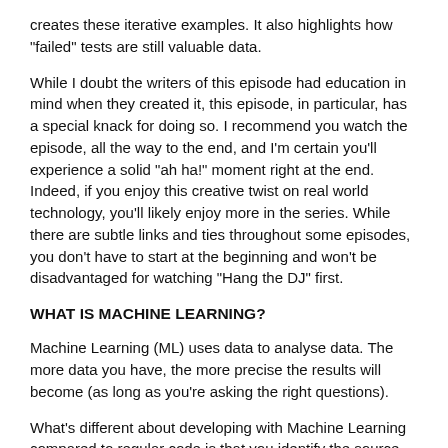creates these iterative examples. It also highlights how "failed" tests are still valuable data.
While I doubt the writers of this episode had education in mind when they created it, this episode, in particular, has a special knack for doing so. I recommend you watch the episode, all the way to the end, and I'm certain you'll experience a solid "ah ha!" moment right at the end. Indeed, if you enjoy this creative twist on real world technology, you'll likely enjoy more in the series. While there are subtle links and ties throughout some episodes, you don't have to start at the beginning and won't be disadvantaged for watching "Hang the DJ" first.
WHAT IS MACHINE LEARNING?
Machine Learning (ML) uses data to analyse data. The more data you have, the more precise the results will become (as long as you're asking the right questions).
What's different about developing with Machine Learning compared to regular code is that you identify the source data, and the outcomes you want, and let Machine Learning figure out how to do so.
We use what's called supervised learning. This means that your